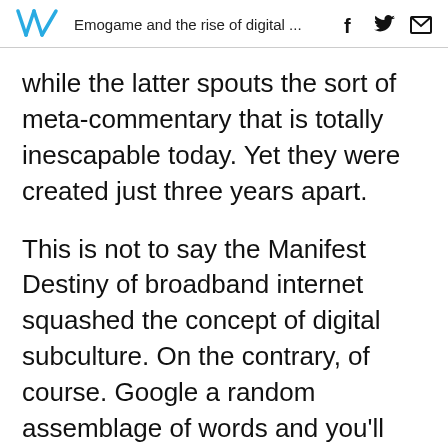Emogame and the rise of digital ...
while the latter spouts the sort of meta-commentary that is totally inescapable today. Yet they were created just three years apart.
This is not to say the Manifest Destiny of broadband internet squashed the concept of digital subculture. On the contrary, of course. Google a random assemblage of words and you'll find a subreddit dedicated to defending that random assemblage's existence. But all subreddits belong to Reddit. Our subcultures, numerous as they may be, remain largely actualized through a handful of efficient and interconnected platforms